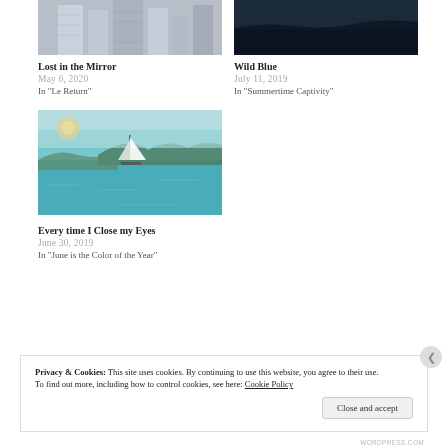[Figure (photo): Partial image of city buildings (grayscale), cropped at top]
[Figure (photo): Dark aerial/nature scene, cropped at top]
Lost in the Mirror
May 6, 2020
In "Le Return"
Wild Blue
July 11, 2019
In "Summertime Captivity"
[Figure (photo): Sailboat on turquoise-green tropical water with mountains in background]
Every time I Close my Eyes
June 30, 2019
In "June is the Color of the Year"
Privacy & Cookies: This site uses cookies. By continuing to use this website, you agree to their use.
To find out more, including how to control cookies, see here: Cookie Policy
Close and accept